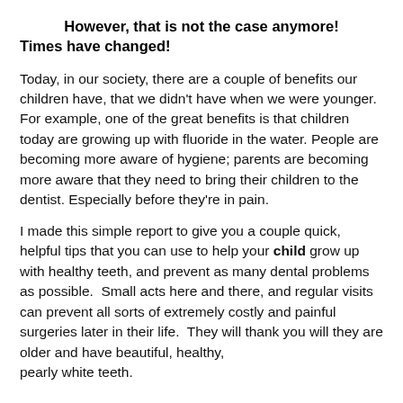However, that is not the case anymore! Times have changed!
Today, in our society, there are a couple of benefits our children have, that we didn't have when we were younger. For example, one of the great benefits is that children today are growing up with fluoride in the water. People are becoming more aware of hygiene; parents are becoming more aware that they need to bring their children to the dentist. Especially before they're in pain.
I made this simple report to give you a couple quick, helpful tips that you can use to help your child grow up with healthy teeth, and prevent as many dental problems as possible.  Small acts here and there, and regular visits can prevent all sorts of extremely costly and painful surgeries later in their life.  They will thank you will they are older and have beautiful, healthy, pearly white teeth.